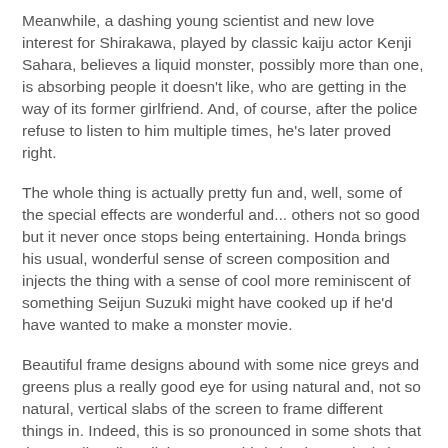Meanwhile, a dashing young scientist and new love interest for Shirakawa, played by classic kaiju actor Kenji Sahara, believes a liquid monster, possibly more than one, is absorbing people it doesn't like, who are getting in the way of its former girlfriend. And, of course, after the police refuse to listen to him multiple times, he's later proved right.
The whole thing is actually pretty fun and, well, some of the special effects are wonderful and... others not so good but it never once stops being entertaining. Honda brings his usual, wonderful sense of screen composition and injects the thing with a sense of cool more reminiscent of something Seijun Suzuki might have cooked up if he'd have wanted to make a monster movie.
Beautiful frame designs abound with some nice greys and greens plus a really good eye for using natural and, not so natural, vertical slabs of the screen to frame different things in. Indeed, this is so pronounced in some shots that they are literally split into exact thirds by the vertical slats created by doors or boxes etc. There's a flashback scene on a ship where some sailors discover the bizarre 'liquid people' of the